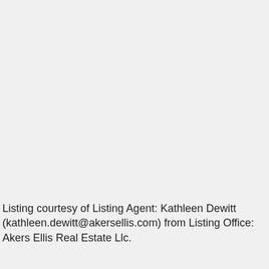Listing courtesy of Listing Agent: Kathleen Dewitt (kathleen.dewitt@akersellis.com) from Listing Office: Akers Ellis Real Estate Llc.